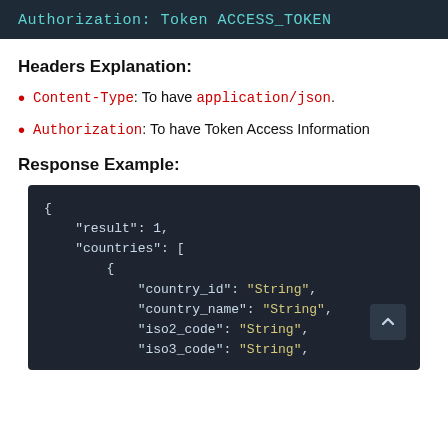[Figure (screenshot): Dark code header bar showing: Authorization: Token ACCESS_TOKEN in monospace cyan text on dark background]
Headers Explanation:
Content-Type: To have application/json.
Authorization: To have Token Access Information
Response Example:
[Figure (screenshot): Dark code block showing JSON response with keys: result, countries array with country_id, country_name, iso2_code, iso3_code all with value "String"]